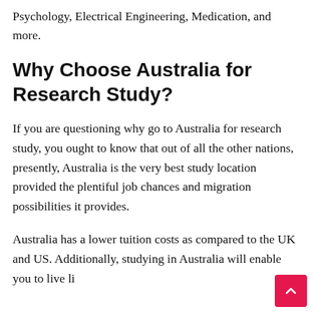Psychology, Electrical Engineering, Medication, and more.
Why Choose Australia for Research Study?
If you are questioning why go to Australia for research study, you ought to know that out of all the other nations, presently, Australia is the very best study location provided the plentiful job chances and migration possibilities it provides.
Australia has a lower tuition costs as compared to the UK and US. Additionally, studying in Australia will enable you to live li…